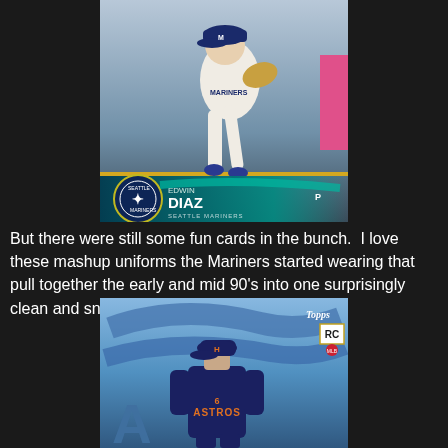[Figure (photo): Baseball card showing Edwin Diaz, pitcher for the Seattle Mariners, in a Mariners uniform mid-action. The card includes the Mariners logo, player name 'EDWIN DIAZ', position 'P', and team name 'SEATTLE MARINERS'.]
But there were still some fun cards in the bunch.  I love these mashup uniforms the Mariners started wearing that pull together the early and mid 90's into one surprisingly clean and snazzy looking set of duds.
[Figure (photo): Topps baseball card showing an Astros player in a navy blue Houston Astros uniform with 'ASTROS' text visible. The card shows a Topps logo in the upper right and an RC (Rookie Card) badge.]